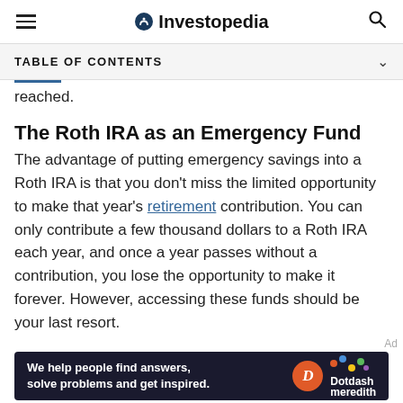Investopedia
TABLE OF CONTENTS
reached.
The Roth IRA as an Emergency Fund
The advantage of putting emergency savings into a Roth IRA is that you don't miss the limited opportunity to make that year's retirement contribution. You can only contribute a few thousand dollars to a Roth IRA each year, and once a year passes without a contribution, you lose the opportunity to make it forever. However, accessing these funds should be your last resort.
[Figure (other): Dotdash Meredith advertisement banner: 'We help people find answers, solve problems and get inspired.' with Dotdash Meredith logo]